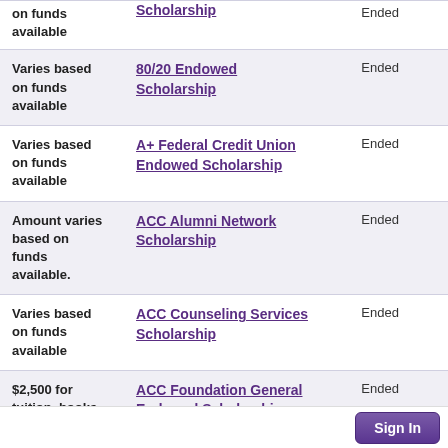| Amount | Scholarship Name | Status |
| --- | --- | --- |
| on funds available | Scholarship | Ended |
| Varies based on funds available | 80/20 Endowed Scholarship | Ended |
| Varies based on funds available | A+ Federal Credit Union Endowed Scholarship | Ended |
| Amount varies based on funds available. | ACC Alumni Network Scholarship | Ended |
| Varies based on funds available | ACC Counseling Services Scholarship | Ended |
| $2,500 for tuition, books and fees | ACC Foundation General Endowed Scholarship | Ended |
Sign In